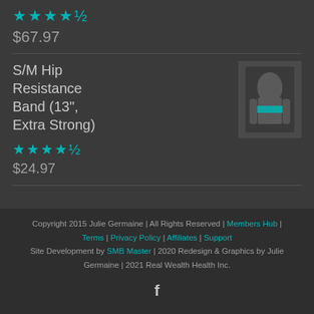★★★★★ (4.5 stars)
$67.97
S/M Hip Resistance Band (13", Extra Strong)
[Figure (photo): Product image of S/M Hip Resistance Band showing a person wearing a teal resistance band around their hips]
★★★★★ (4.5 stars)
$24.97
Copyright 2015 Julie Germaine | All Rights Reserved | Members Hub | Terms | Privacy Policy | Affiliates | Support
Site Development by SMB Master | 2020 Redesign & Graphics by Julie Germaine | 2021 Real Wealth Health Inc.